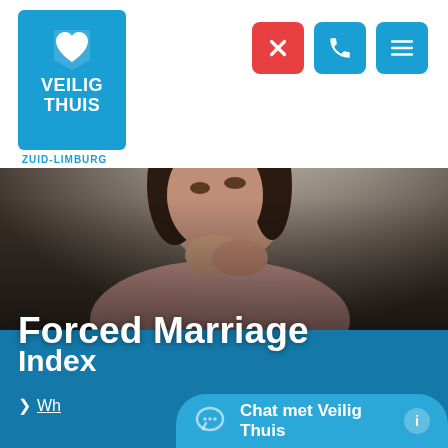[Figure (logo): Veilig Thuis Zuid-Limburg logo — white heart icon on blue background with text VEILIG THUIS and subtitle ZUID-LIMBURG]
[Figure (photo): Thoughtful woman with dark hair wearing pink top, resting chin on clasped hands, looking sideways, with blurred interior background]
Forced Marriage
Index
> Wh...
Chat met Veilig Thuis